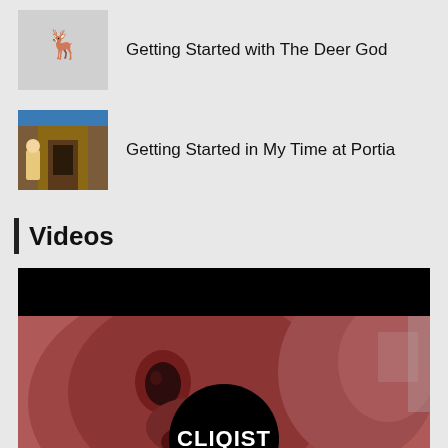Getting Started with The Deer God
Getting Started in My Time at Portia
Videos
[Figure (photo): Video thumbnail showing a monster/creature face with fur and teeth, with a dark red tint overlay. A black bar appears at the top, and a black circular logo with 'CLIQIST' text appears at the bottom center.]